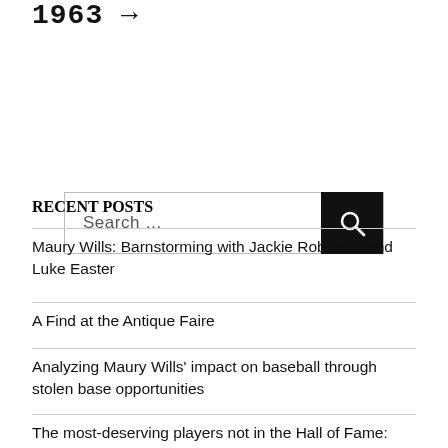1963 →
Search …
RECENT POSTS
Maury Wills: Barnstorming with Jackie Robinson and Luke Easter
A Find at the Antique Faire
Analyzing Maury Wills' impact on baseball through stolen base opportunities
The most-deserving players not in the Hall of Fame: Right fielders